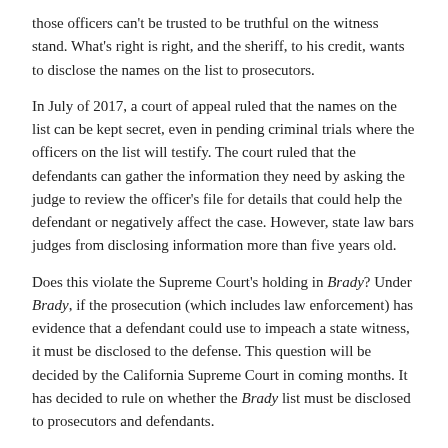those officers can't be trusted to be truthful on the witness stand. What's right is right, and the sheriff, to his credit, wants to disclose the names on the list to prosecutors.
In July of 2017, a court of appeal ruled that the names on the list can be kept secret, even in pending criminal trials where the officers on the list will testify. The court ruled that the defendants can gather the information they need by asking the judge to review the officer's file for details that could help the defendant or negatively affect the case. However, state law bars judges from disclosing information more than five years old.
Does this violate the Supreme Court's holding in Brady? Under Brady, if the prosecution (which includes law enforcement) has evidence that a defendant could use to impeach a state witness, it must be disclosed to the defense. This question will be decided by the California Supreme Court in coming months. It has decided to rule on whether the Brady list must be disclosed to prosecutors and defendants.
Being on the Brady list, however, does not seem to affect an officer's career much. “For me it wasn’t a big deal,” said Orlando Macias, who retired in March with a $115,000 pension. Macias was convicted in 2011 of soliciting an undercover officer on Backpage.com for sex and was ordered to pay a $654 fine. The Sheriff’s Department suspended him for 15 days.